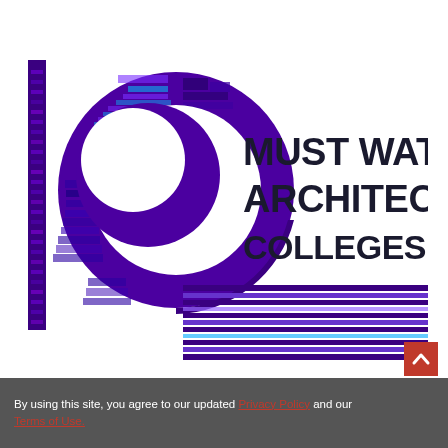[Figure (logo): Logo with a stylized purple/blue circular 'IC' emblem with circuit-board pattern, and bold text reading 'MUST WATC ARCHITECTU COLLEGES IN INI' with horizontal striped bar at bottom]
By using this site, you agree to our updated Privacy Policy and our Terms of Use.